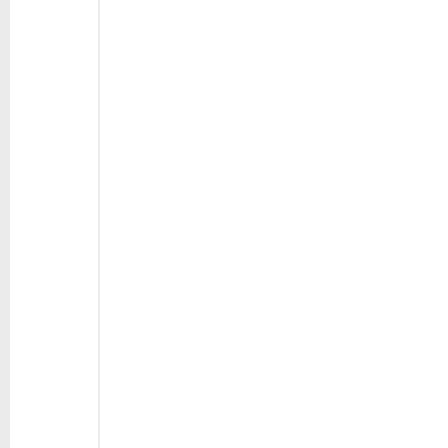Catholic tradition Presbyterians, wh (Plymouth) and G The people who d generations on th were in a number Presbyterian Chu that they always h
Search tactics are as those for the S Strategies and So strategies. When some with no app not have birthpla seasoned researc important tool for